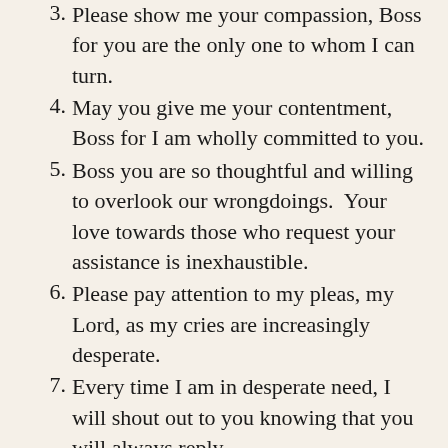3. Please show me your compassion, Boss for you are the only one to whom I can turn.
4. May you give me your contentment, Boss for I am wholly committed to you.
5. Boss you are so thoughtful and willing to overlook our wrongdoings.  Your love towards those who request your assistance is inexhaustible.
6. Please pay attention to my pleas, my Lord, as my cries are increasingly desperate.
7. Every time I am in desperate need, I will shout out to you knowing that you will always reply.
8. People give their priority and devotion to so many different things but none of them can give the assistance and care which you ...